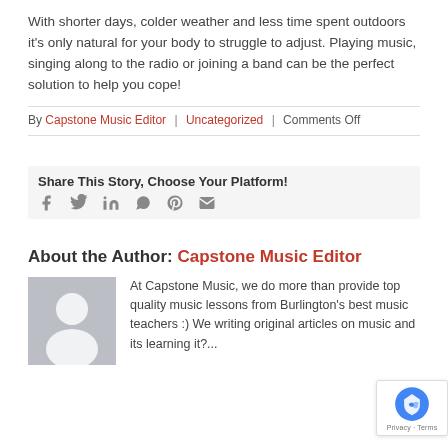With shorter days, colder weather and less time spent outdoors it's only natural for your body to struggle to adjust. Playing music, singing along to the radio or joining a band can be the perfect solution to help you cope!
By Capstone Music Editor | Uncategorized | Comments Off
Share This Story, Choose Your Platform!
About the Author: Capstone Music Editor
At Capstone Music, we do more than provide top quality music lessons from Burlington's best music teachers :) We writing original articles on music and its learning it?...